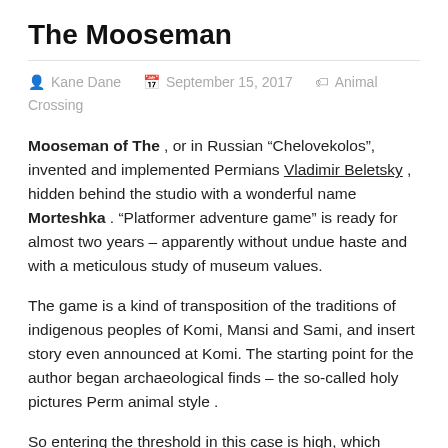The Mooseman
Kane Dane   September 15, 2017   Animal Crossing
Mooseman of The , or in Russian “Chelovekolos”, invented and implemented Permians Vladimir Beletsky , hidden behind the studio with a wonderful name Morteshka . “Platformer adventure game” is ready for almost two years – apparently without undue haste and with a meticulous study of museum values.
The game is a kind of transposition of the traditions of indigenous peoples of Komi, Mansi and Sami, and insert story even announced at Komi. The starting point for the author began archaeological finds – the so-called holy pictures Perm animal style .
So entering the threshold in this case is high, which